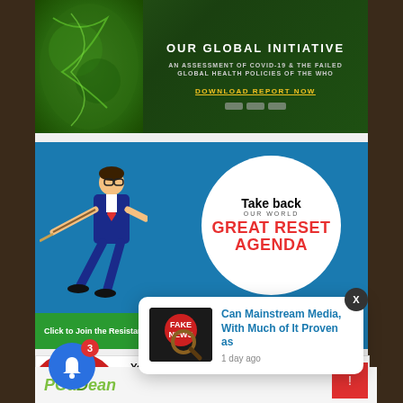[Figure (illustration): Green banner ad: OUR GLOBAL INITIATIVE - AN ASSESSMENT OF COVID-19 & THE FAILED GLOBAL HEALTH POLICIES OF THE WHO - DOWNLOAD REPORT NOW]
[Figure (illustration): Great Reset Agenda ad with animated figure pulling rope, blue background, white circle with 'Take back OUR WORLD GREAT RESET AGENDA', green bar 'Click to Join the Resistance', tbo.world]
[Figure (illustration): DID YOU KNOW? You Can Convert Bitcoin 2.0 to Qoin and Spend it at 38,000 merchants? Bitcoin to Qoin logo with >>]
[Figure (screenshot): Notification popup: Can Mainstream Media, With Much of It Proven as - 1 day ago, with Fake News thumbnail image]
[Figure (illustration): PodBean logo partially visible at bottom with AUSTRALIAN NATIONAL REVIEW text]
[Figure (illustration): Blue notification bell button with badge showing 3, and red notification button on right]